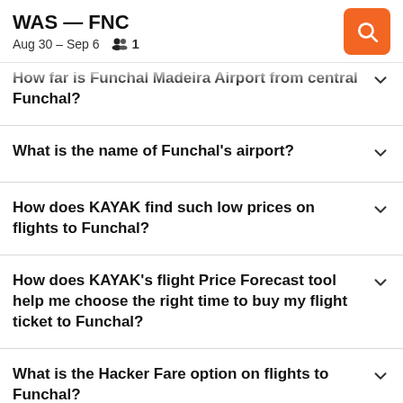WAS — FNC
Aug 30 – Sep 6  1
How far is Funchal Madeira Airport from central Funchal?
What is the name of Funchal's airport?
How does KAYAK find such low prices on flights to Funchal?
How does KAYAK's flight Price Forecast tool help me choose the right time to buy my flight ticket to Funchal?
What is the Hacker Fare option on flights to Funchal?
What is KAYAK's "flexible dates" feature and why